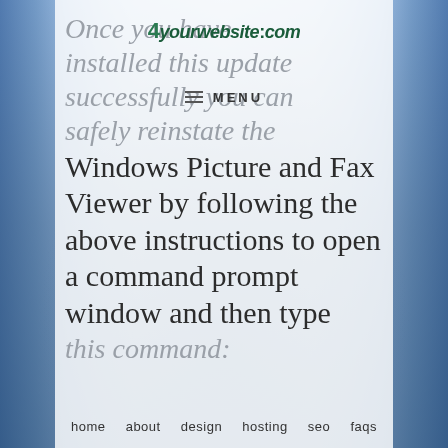[Figure (screenshot): Website screenshot showing 4yourwebsite.com logo overlaid on a city/bridge background photo with white semi-transparent panel]
4yourwebsite.com
≡ MENU
Once you have installed this update successfully you can safely reinstate the Windows Picture and Fax Viewer by following the above instructions to open a command prompt window and then type this command:
home   about   design   hosting   seo   faqs